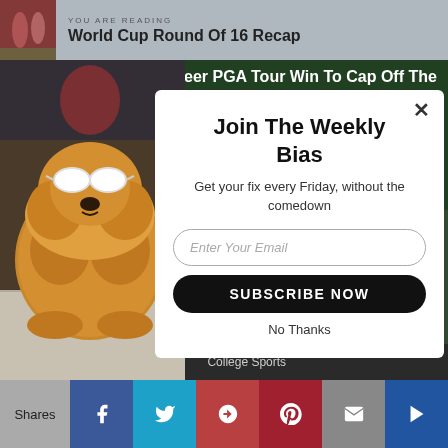YOU ARE READING
World Cup Round Of 16 Recap
80th Career PGA Tour Win To Cap Off The
[Figure (photo): Fluffy dog wearing white sunglasses lying on a tiled floor]
Join The Weekly Bias
Get your fix every Friday, without the comedown
Enter Your Email
SUBSCRIBE NOW
No Thanks
Art of Hating   College   College Sports
Shares